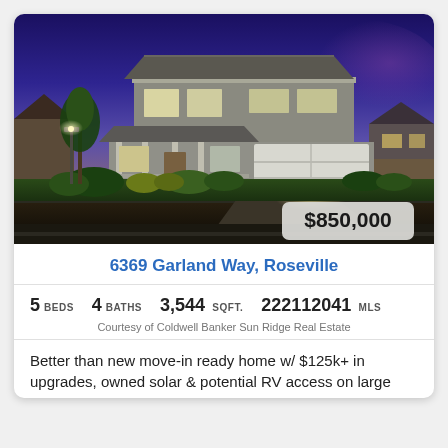[Figure (photo): Two-story suburban home at dusk with blue-purple sky, two-car garage, front porch, landscaped yard with shrubs and ornamental grasses, street lamp on left.]
6369 Garland Way, Roseville
5 BEDS   4 BATHS   3,544 SQFT.   222112041 MLS
Courtesy of Coldwell Banker Sun Ridge Real Estate
Better than new move-in ready home w/ $125k+ in upgrades, owned solar & potential RV access on large